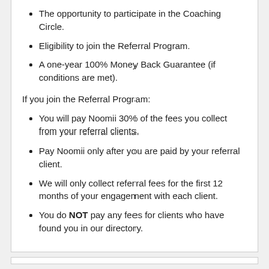The opportunity to participate in the Coaching Circle.
Eligibility to join the Referral Program.
A one-year 100% Money Back Guarantee (if conditions are met).
If you join the Referral Program:
You will pay Noomii 30% of the fees you collect from your referral clients.
Pay Noomii only after you are paid by your referral client.
We will only collect referral fees for the first 12 months of your engagement with each client.
You do NOT pay any fees for clients who have found you in our directory.